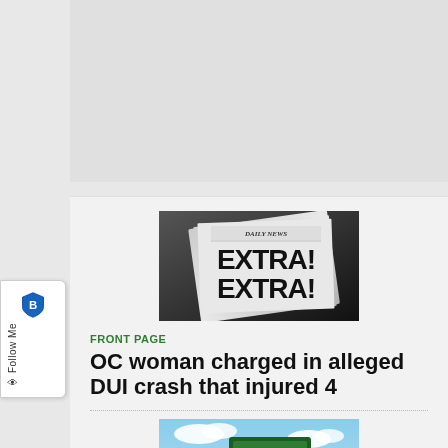[Figure (other): Gray advertisement banner placeholder at top of page]
[Figure (photo): Newspaper front page showing 'DAILY NEWS - EXTRA! EXTRA!' in bold black text on a folded newspaper, dark background]
FRONT PAGE
OC woman charged in alleged DUI crash that injured 4
[Figure (photo): Partial image of Venango county/area green sign with blue sky and power line towers, partially cropped at bottom]
[Figure (logo): Follow Me sidebar button with blue shield icon and vertical 'Follow Me' text]